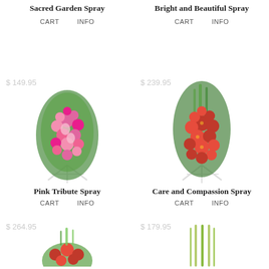Sacred Garden Spray
CART   INFO
Bright and Beautiful Spray
CART   INFO
$ 149.95
[Figure (photo): Pink floral spray arrangement on white easel stand]
Pink Tribute Spray
CART   INFO
$ 239.95
[Figure (photo): Red floral spray arrangement on white easel stand]
Care and Compassion Spray
CART   INFO
$ 264.95
[Figure (photo): Mixed floral spray arrangement partially visible at bottom]
$ 179.95
[Figure (photo): Green/yellow floral spray arrangement partially visible at bottom]